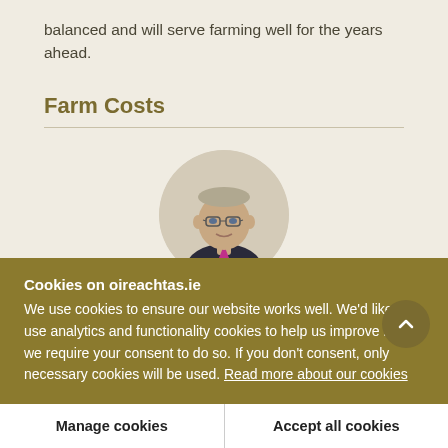balanced and will serve farming well for the years ahead.
Farm Costs
[Figure (photo): Circular portrait photo of a middle-aged man wearing glasses and a dark jacket with a pink/magenta tie, against a light background.]
Cookies on oireachtas.ie
We use cookies to ensure our website works well. We'd like to use analytics and functionality cookies to help us improve it but we require your consent to do so. If you don't consent, only necessary cookies will be used. Read more about our cookies
Manage cookies
Accept all cookies